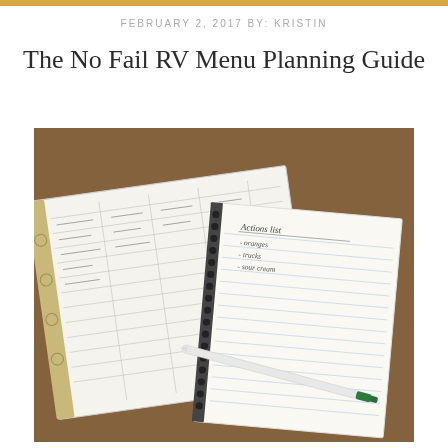FEBRUARY 2, 2017 BY: KRISTIN
The No Fail RV Menu Planning Guide
[Figure (photo): A photo showing a binder with a meal planning grid/spreadsheet and a spiral notepad with handwritten shopping list, along with a green pen resting on the notepad, placed on a wooden surface.]